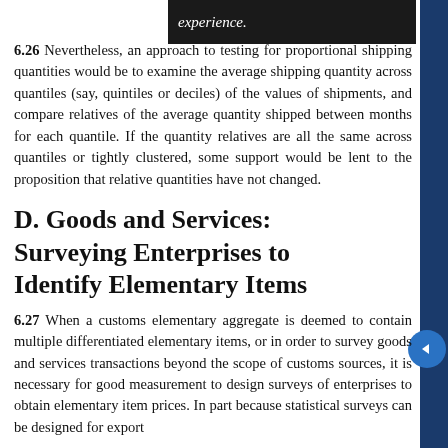experience.
6.26 Nevertheless, an approach to testing for proportional shipping quantities would be to examine the average shipping quantity across quantiles (say, quintiles or deciles) of the values of shipments, and compare relatives of the average quantity shipped between months for each quantile. If the quantity relatives are all the same across quantiles or tightly clustered, some support would be lent to the proposition that relative quantities have not changed.
D. Goods and Services: Surveying Enterprises to Identify Elementary Items
6.27 When a customs elementary aggregate is deemed to contain multiple differentiated elementary items, or in order to survey goods and services transactions beyond the scope of customs sources, it is necessary for good measurement to design surveys of enterprises to obtain elementary item prices. In part because statistical surveys can be designed for export